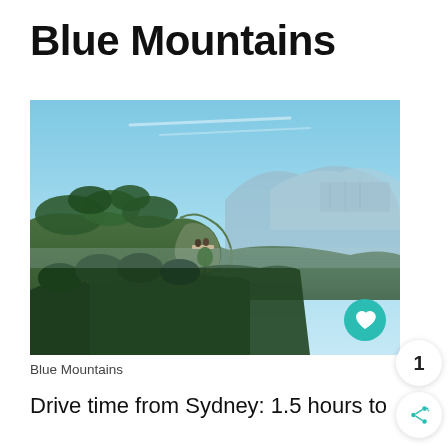Blue Mountains
[Figure (photo): Panoramic view of the Blue Mountains, Australia. A rocky cliff with dense green forest in the foreground, and expansive mountain ranges receding into the blue haze under a clear blue sky. Two small figures visible on a lookout platform on the cliff edge.]
Blue Mountains
Drive time from Sydney: 1.5 hours to